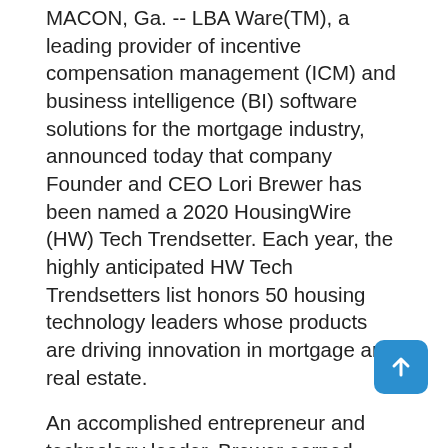MACON, Ga. -- LBA Ware(TM), a leading provider of incentive compensation management (ICM) and business intelligence (BI) software solutions for the mortgage industry, announced today that company Founder and CEO Lori Brewer has been named a 2020 HousingWire (HW) Tech Trendsetter. Each year, the highly anticipated HW Tech Trendsetters list honors 50 housing technology leaders whose products are driving innovation in mortgage and real estate.
An accomplished entrepreneur and technology leader, Brewer earned recognition for conceptualizing and building CompenSafe(TM), the first and only mortgage-specific ICM platform, and for the release of LimeGear(TM), a turnkey BI platform for mortgage lenders that provides visibility into multiple levels of data. Both solutions have fulfilled mortgage lenders' need for custom technology solutions that automate traditionally manual business processes. Brewer was also credited with the January 2020 launch of LBA Ware's Loan Originator Compensation Report, which provides compelling insights into mortgage compensation trends each quarter.